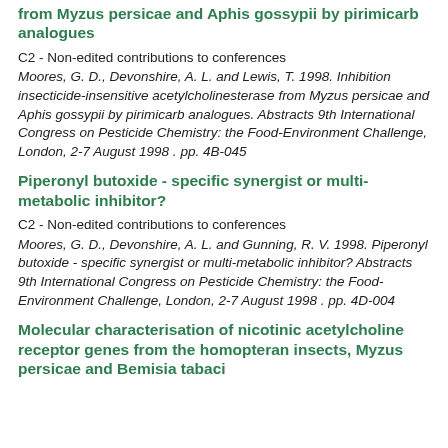from Myzus persicae and Aphis gossypii by pirimicarb analogues
C2 - Non-edited contributions to conferences
Moores, G. D., Devonshire, A. L. and Lewis, T. 1998. Inhibition insecticide-insensitive acetylcholinesterase from Myzus persicae and Aphis gossypii by pirimicarb analogues. Abstracts 9th International Congress on Pesticide Chemistry: the Food-Environment Challenge, London, 2-7 August 1998 . pp. 4B-045
Piperonyl butoxide - specific synergist or multi-metabolic inhibitor?
C2 - Non-edited contributions to conferences
Moores, G. D., Devonshire, A. L. and Gunning, R. V. 1998. Piperonyl butoxide - specific synergist or multi-metabolic inhibitor? Abstracts 9th International Congress on Pesticide Chemistry: the Food-Environment Challenge, London, 2-7 August 1998 . pp. 4D-004
Molecular characterisation of nicotinic acetylcholine receptor genes from the homopteran insects, Myzus persicae and Bemisia tabaci